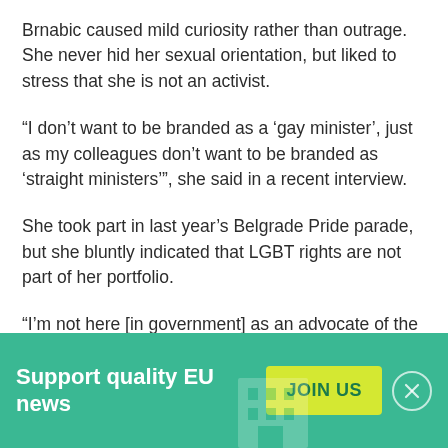Brnabic caused mild curiosity rather than outrage. She never hid her sexual orientation, but liked to stress that she is not an activist.
“I don’t want to be branded as a ‘gay minister’, just as my colleagues don’t want to be branded as ‘straight ministers’”, she said in a recent interview.
She took part in last year’s Belgrade Pride parade, but she bluntly indicated that LGBT rights are not part of her portfolio.
“I’m not here [in government] as an advocate of the LGBT community”, she said.
Support quality EU news  JOIN US